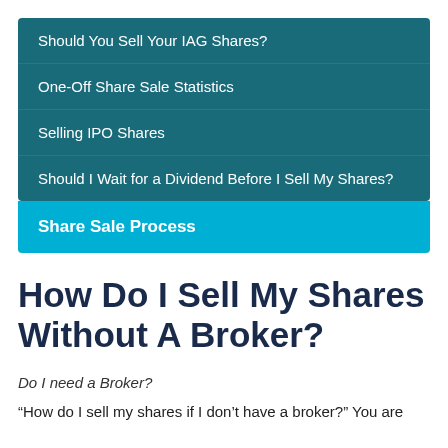Should You Sell Your IAG Shares?
One-Off Share Sale Statistics
Selling IPO Shares
Should I Wait for a Dividend Before I Sell My Shares?
Share Sale Process
How Do I Sell My Shares Without A Broker?
Do I need a Broker?
“How do I sell my shares if I don’t have a broker?” You are